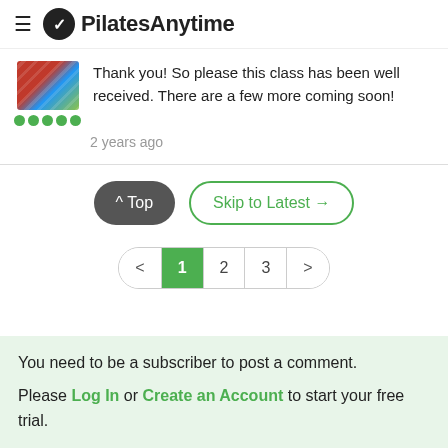PilatesAnytime
[Figure (photo): Thumbnail image of a Pilates class with red and blue elements]
Thank you!  So please this class has been well received. There are a few more coming soon!
2 years ago
^ Top   Skip to Latest →
< 1 2 3 >
You need to be a subscriber to post a comment.

Please Log In or Create an Account to start your free trial.